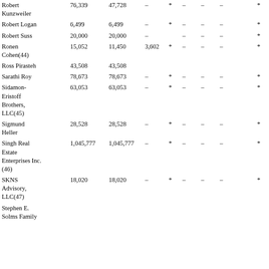| Name | Total Shares | Sole Voting | Shared Voting | Col5 | Col6 | Col7 | Col8 | Col9 | Col10 |
| --- | --- | --- | --- | --- | --- | --- | --- | --- | --- |
| Robert Kunzweiler | 76,339 | 47,728 | – | * | – | – | – | * |
| Robert Logan | 6,499 | 6,499 | – | * | – | – | – | * |
| Robert Suss | 20,000 | 20,000 | – |  | – | – | – | * |
| Ronen Cohen(44) | 15,052 | 11,450 | 3,602 | * | – | – | – | * |
| Ross Pirasteh | 43,508 | 43,508 |  |  |  |  |  |  |
| Sarathi Roy | 78,673 | 78,673 | – | * | – | – | – | * |
| Sidamon-Eristoff Brothers, LLC(45) | 63,053 | 63,053 | – | * | – | – | – | * |
| Sigmund Heller | 28,528 | 28,528 | – | * | – | – | – | * |
| Singh Real Estate Enterprises Inc.(46) | 1,045,777 | 1,045,777 | – | * | – | – | – | * |
| SKNS Advisory, LLC(47) | 18,020 | 18,020 | – | * | – | – | – | * |
| Stephen E. Solms Family |  |  |  |  |  |  |  |  |